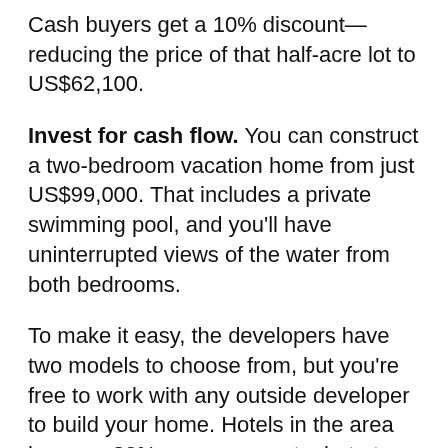Cash buyers get a 10% discount—reducing the price of that half-acre lot to US$62,100.
Invest for cash flow. You can construct a two-bedroom vacation home from just US$99,000. That includes a private swimming pool, and you'll have uninterrupted views of the water from both bedrooms.
To make it easy, the developers have two models to choose from, but you're free to work with any outside developer to build your home. Hotels in the area have an 80% occupancy rate, but at a conservative 40% occupancy, developers project a 10%–12% net yield.
In more good news, Brazil recently waived its US$140 visa fees on U.S., Canadian, Australian, and Japanese visitors. You can stay here visa-free…